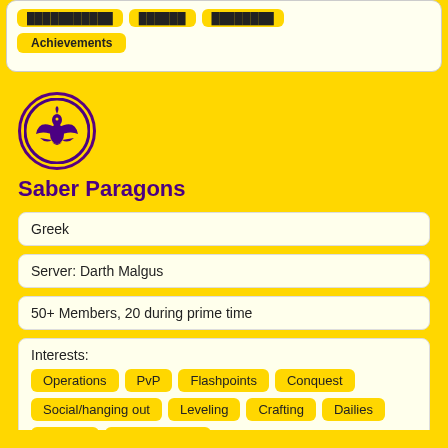Achievements
[Figure (logo): Saber Paragons guild logo: circular emblem with golden/purple phoenix-like bird symbol on yellow background]
Saber Paragons
Greek
Server: Darth Malgus
50+ Members, 20 during prime time
Interests: Operations  PvP  Flashpoints  Conquest  Social/hanging out  Leveling  Crafting  Dailies  Heroics  Achievements